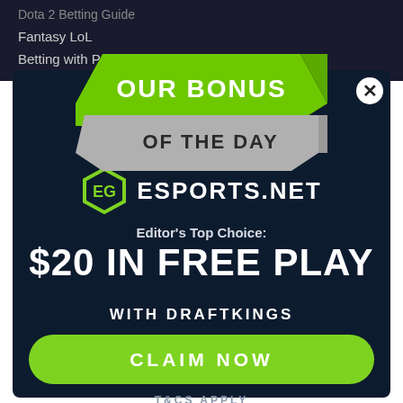Dota 2 Betting Guide
Fantasy LoL
Betting with PayPal
[Figure (illustration): Promotional modal overlay for ESPORTS.NET featuring a ribbon banner reading 'OUR BONUS OF THE DAY', the ESPORTS.NET logo, Editor's Top Choice text, $20 IN FREE PLAY WITH DRAFTKINGS promo, a green CLAIM NOW button, and T&CS APPLY text. A close (X) button appears in the top right corner.]